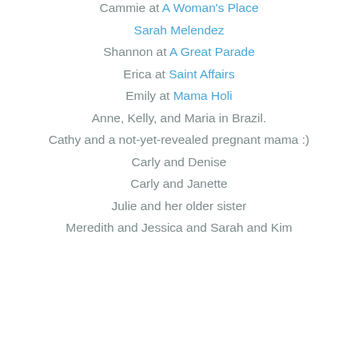Cammie at A Woman's Place
Sarah Melendez
Shannon at A Great Parade
Erica at Saint Affairs
Emily at Mama Holi
Anne, Kelly, and Maria in Brazil.
Cathy and a not-yet-revealed pregnant mama :)
Carly and Denise
Carly and Janette
Julie and her older sister
Meredith and Jessica and Sarah and Kim